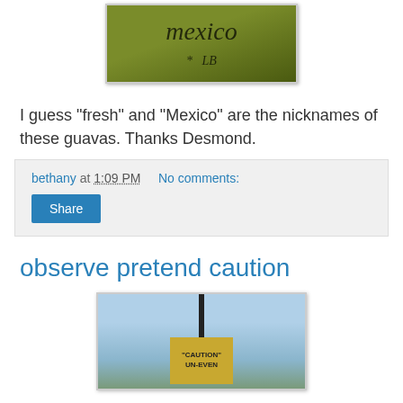[Figure (photo): Photo of green guava fruit with handwritten text, partial view]
I guess "fresh" and "Mexico" are the nicknames of these guavas. Thanks Desmond.
bethany at 1:09 PM   No comments:
Share
observe pretend caution
[Figure (photo): Photo of a yellow caution sign on a pole reading "CAUTION" UN-EVEN, outdoor setting with cars and trees in background]